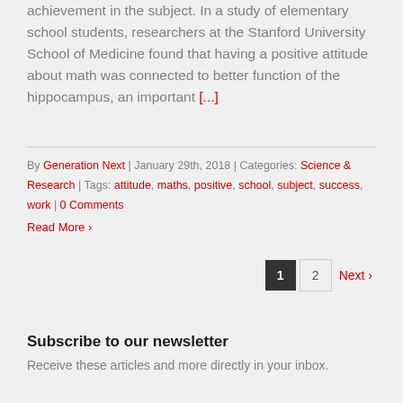achievement in the subject. In a study of elementary school students, researchers at the Stanford University School of Medicine found that having a positive attitude about math was connected to better function of the hippocampus, an important [...]
By Generation Next | January 29th, 2018 | Categories: Science & Research | Tags: attitude, maths, positive, school, subject, success, work | 0 Comments
Read More ›
1  2  Next ›
Subscribe to our newsletter
Receive these articles and more directly in your inbox.